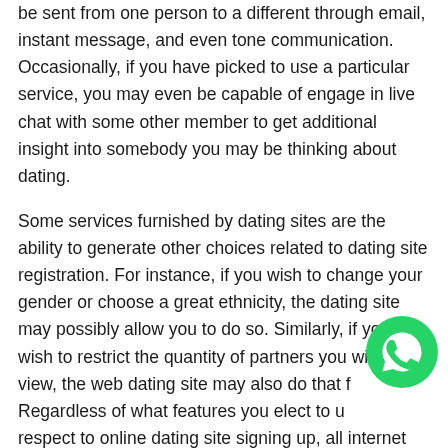be sent from one person to a different through email, instant message, and even tone communication. Occasionally, if you have picked to use a particular service, you may even be capable of engage in live chat with some other member to get additional insight into somebody you may be thinking about dating.
Some services furnished by dating sites are the ability to generate other choices related to dating site registration. For instance, if you wish to change your gender or choose a great ethnicity, the dating site may possibly allow you to do so. Similarly, if you wish to restrict the quantity of partners you wish to view, the web dating site may also do that f... Regardless of what features you elect to u... with respect to online dating site signing up, all internet dating sites allow you to generate a profile that
[Figure (logo): WhatsApp green circular logo with phone handset icon]